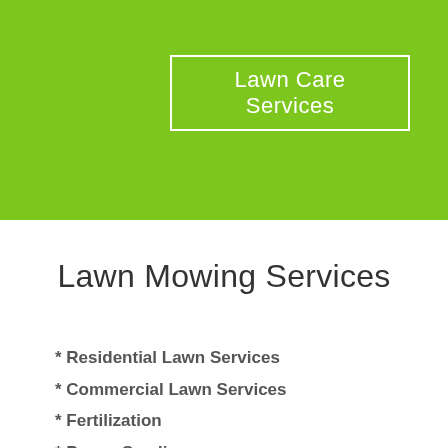Lawn Care Services
Lawn Mowing Services
* Residential Lawn Services
* Commercial Lawn Services
* Fertilization
* Power Seeding